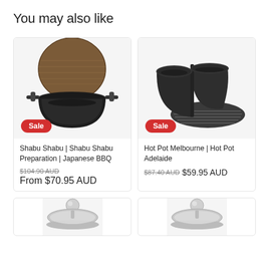You may also like
[Figure (photo): Japanese cast iron hot pot / Shabu Shabu pot with wooden lid, black, with handles, Sale badge]
[Figure (photo): Hot pot two-section divided cast iron pot with grill plate, black, Sale badge]
Shabu Shabu | Shabu Shabu Preparation | Japanese BBQ
Hot Pot Melbourne | Hot Pot Adelaide
$104.90 AUD
From $70.95 AUD
$87.40 AUD  $59.95 AUD
[Figure (photo): Bottom-left product partial image: stainless steel ball lid handle visible]
[Figure (photo): Bottom-right product partial image: stainless steel ball lid handle visible]